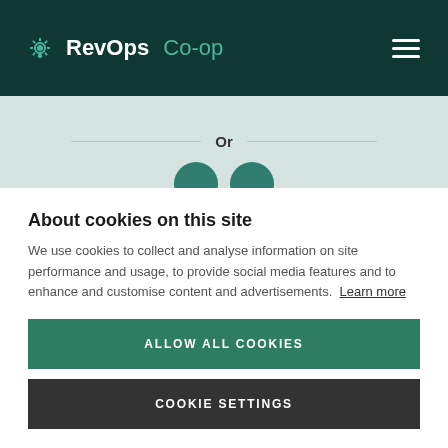RevOps Co-op
Or
[Figure (other): Partial circles visible at bottom of light green/blue section]
About cookies on this site
We use cookies to collect and analyse information on site performance and usage, to provide social media features and to enhance and customise content and advertisements. Learn more
ALLOW ALL COOKIES
COOKIE SETTINGS